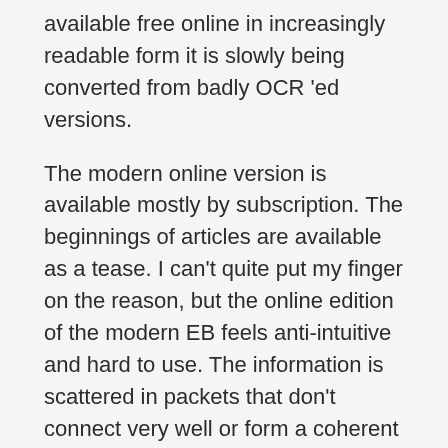available free online in increasingly readable form it is slowly being converted from badly OCR 'ed versions.
The modern online version is available mostly by subscription. The beginnings of articles are available as a tease. I can't quite put my finger on the reason, but the online edition of the modern EB feels anti-intuitive and hard to use. The information is scattered in packets that don't connect very well or form a coherent narrative.
Kinda like this glossary. The eleventh edition, on the other hand, is an object of veneration. They did get a lot of very good contributors, famous experts in their fields: This optimistic spirit was reflected later in the year [, marking the th anniversary of the first edition] by the publication of a full-length history called The Great EB, which presented an exhaustive account of the Encyclopaedia's growth and financial history.